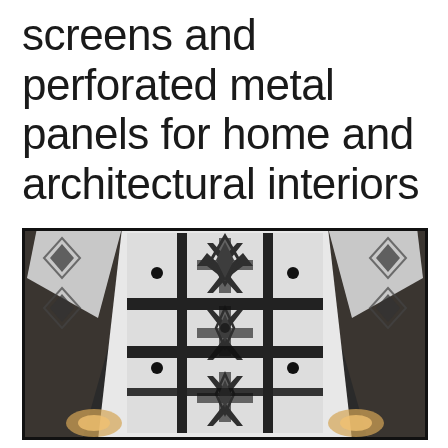screens and perforated metal panels for home and architectural interiors
[Figure (photo): Upward-looking photograph of an interior architectural ceiling featuring decorative perforated metal panels with intricate geometric black-and-white patterns (Art Deco style), viewed from below with warm ambient lighting visible at the lower sides. The ceiling panels show a symmetrical repeated pattern of diamonds, crosses, and starburst motifs.]